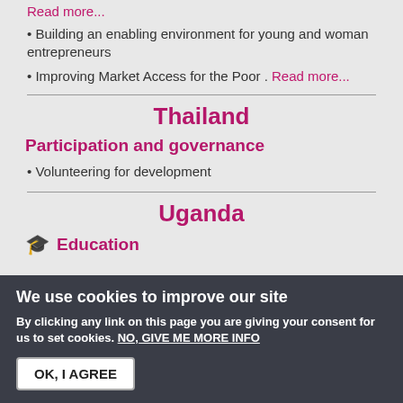Read more...
Building an enabling environment for young and woman entrepreneurs
Improving Market Access for the Poor . Read more...
Thailand
Participation and governance
Volunteering for development
Uganda
Education
We use cookies to improve our site
By clicking any link on this page you are giving your consent for us to set cookies. NO, GIVE ME MORE INFO
OK, I AGREE